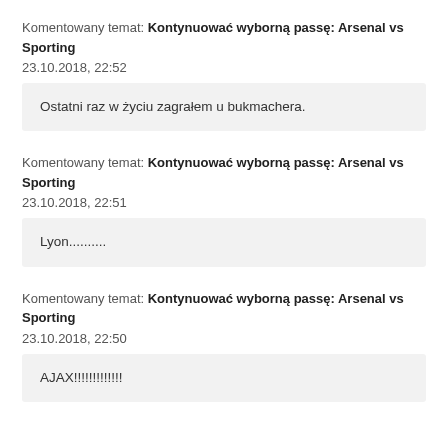Komentowany temat: Kontynuować wyborną passę: Arsenal vs Sporting
23.10.2018, 22:52
Ostatni raz w życiu zagrałem u bukmachera.
Komentowany temat: Kontynuować wyborną passę: Arsenal vs Sporting
23.10.2018, 22:51
Lyon..........
Komentowany temat: Kontynuować wyborną passę: Arsenal vs Sporting
23.10.2018, 22:50
AJAX!!!!!!!!!!!!!